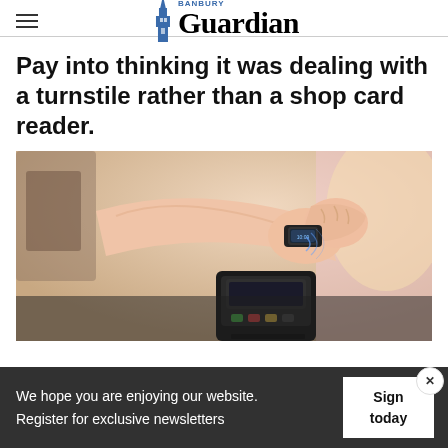Banbury Guardian
Pay into thinking it was dealing with a turnstile rather than a shop card reader.
[Figure (photo): Person's wrist with a smartwatch being held over a card payment terminal in a shop setting]
We hope you are enjoying our website. Register for exclusive newsletters
Sign today